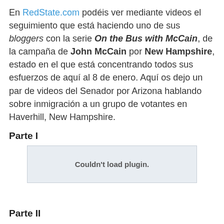En RedState.com podéis ver mediante videos el seguimiento que está haciendo uno de sus bloggers con la serie On the Bus with McCain, de la campaña de John McCain por New Hampshire, estado en el que está concentrando todos sus esfuerzos de aquí al 8 de enero. Aquí os dejo un par de videos del Senador por Arizona hablando sobre inmigración a un grupo de votantes en Haverhill, New Hampshire.
Parte I
[Figure (other): Embedded video plugin placeholder showing 'Couldn't load plugin.' message]
Parte II